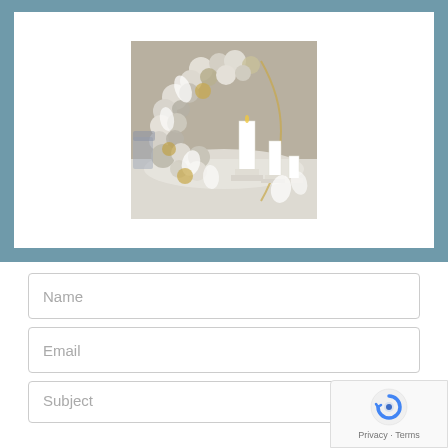[Figure (photo): A decorative event setup featuring a circular balloon arch with white, cream, and gold balloons along with white feathery flowers, a gold hoop stand behind, and tall white candles on pedestals on a white draped table. The background is a warm gray wall.]
Name
Email
Subject